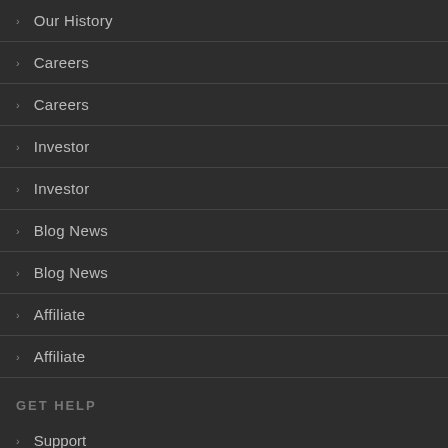Our History
Careers
Careers
Investor
Investor
Blog News
Blog News
Affiliate
Affiliate
GET HELP
Support